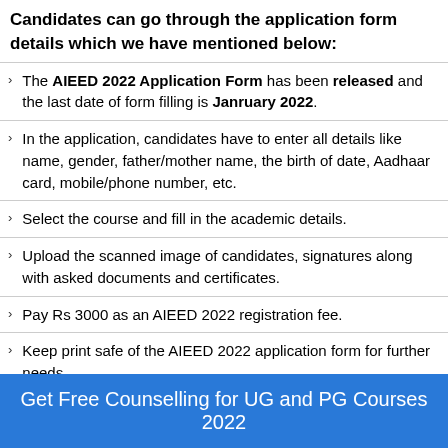Candidates can go through the application form details which we have mentioned below:
The AIEED 2022 Application Form has been released and the last date of form filling is Janruary 2022.
In the application, candidates have to enter all details like name, gender, father/mother name, the birth of date, Aadhaar card, mobile/phone number, etc.
Select the course and fill in the academic details.
Upload the scanned image of candidates, signatures along with asked documents and certificates.
Pay Rs 3000 as an AIEED 2022 registration fee.
Keep print safe of the AIEED 2022 application form for further needs.
AIEED 2022 Application Fee
Get Free Counselling for UG and PG Courses 2022